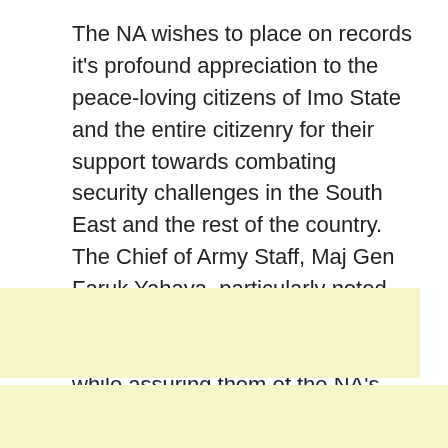The NA wishes to place on records it's profound appreciation to the peace-loving citizens of Imo State and the entire citizenry for their support towards combating security challenges in the South East and the rest of the country. The Chief of Army Staff, Maj Gen Faruk Yahaya, particularly noted this as a patriotic gesture and appealed to the public to do more while assuring them of the NA's resolve to end the reign of terror in the country.
[Figure (other): Light yellow advertisement or content block, partially visible with a white tab cutout in upper right corner]
[Figure (other): Light yellow advertisement or content block at bottom of page]